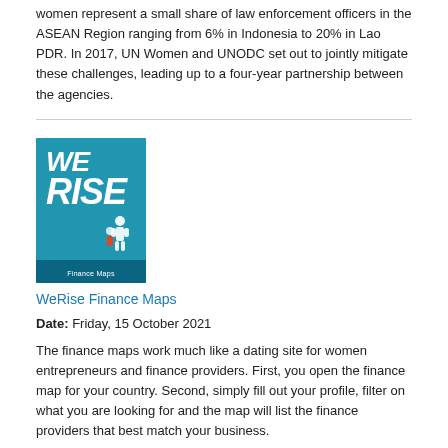women represent a small share of law enforcement officers in the ASEAN Region ranging from 6% in Indonesia to 20% in Lao PDR. In 2017, UN Women and UNODC set out to jointly mitigate these challenges, leading up to a four-year partnership between the agencies.
[Figure (illustration): Book cover for WeRise Finance Maps — blue background with bold white text reading 'WE RISE', small illustrated figures, and 'Finance Maps' label at the bottom.]
WeRise Finance Maps
Date: Friday, 15 October 2021
The finance maps work much like a dating site for women entrepreneurs and finance providers. First, you open the finance map for your country. Second, simply fill out your profile, filter on what you are looking for and the map will list the finance providers that best match your business.